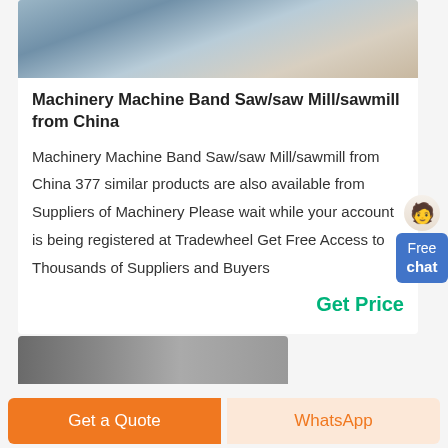[Figure (photo): Aerial or industrial view of machinery/sawmill equipment, partially cropped at top]
Machinery Machine Band Saw/saw Mill/sawmill from China
Machinery Machine Band Saw/saw Mill/sawmill from China 377 similar products are also available from Suppliers of Machinery Please wait while your account is being registered at Tradewheel Get Free Access to Thousands of Suppliers and Buyers
Get Price
[Figure (photo): Partially visible product image at bottom of page]
Free chat
Get a Quote
WhatsApp